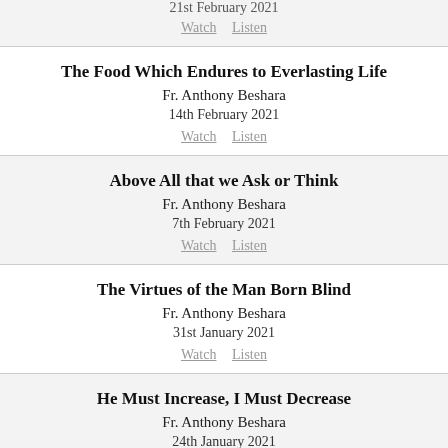21st February 2021
Watch   Listen
The Food Which Endures to Everlasting Life
Fr. Anthony Beshara
14th February 2021
Watch   Listen
Above All that we Ask or Think
Fr. Anthony Beshara
7th February 2021
Watch   Listen
The Virtues of the Man Born Blind
Fr. Anthony Beshara
31st January 2021
Watch   Listen
He Must Increase, I Must Decrease
Fr. Anthony Beshara
24th January 2021
Watch   Listen